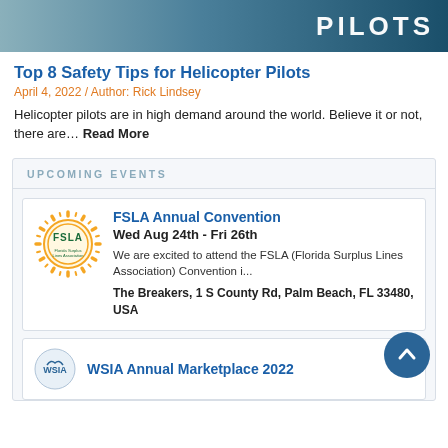[Figure (photo): Hero banner image with beach/sand dunes scene and large white 'PILOTS' text on blue gradient background]
Top 8 Safety Tips for Helicopter Pilots
April 4, 2022 / Author: Rick Lindsey
Helicopter pilots are in high demand around the world. Believe it or not, there are... Read More
UPCOMING EVENTS
[Figure (logo): FSLA sun logo with rays and text 'FSLA Florida Surplus Lines Association']
FSLA Annual Convention
Wed Aug 24th - Fri 26th
We are excited to attend the FSLA (Florida Surplus Lines Association) Convention i...
The Breakers, 1 S County Rd, Palm Beach, FL 33480, USA
[Figure (logo): WSIA logo bird/figure mark]
WSIA Annual Marketplace 2022